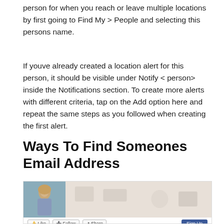person for when you reach or leave multiple locations by first going to Find My > People and selecting this persons name.
If youve already created a location alert for this person, it should be visible under Notify < person> inside the Notifications section. To create more alerts with different criteria, tap on the Add option here and repeat the same steps as you followed when creating the first alert.
Ways To Find Someones Email Address
[Figure (screenshot): Screenshot of a Facebook profile page showing a cover photo, profile picture, Like/Follow/Share buttons, Sign Up button, and About section with Suggest Edits. The bottom left shows 'cupcakes and' text.]